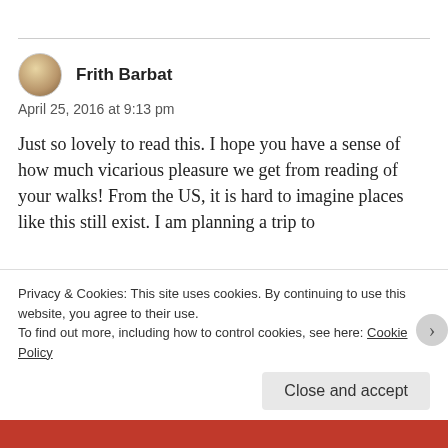[Figure (illustration): User avatar: circular portrait photo of Frith Barbat]
Frith Barbat
April 25, 2016 at 9:13 pm
Just so lovely to read this. I hope you have a sense of how much vicarious pleasure we get from reading of your walks! From the US, it is hard to imagine places like this still exist. I am planning a trip to
Privacy & Cookies: This site uses cookies. By continuing to use this website, you agree to their use.
To find out more, including how to control cookies, see here: Cookie Policy
Close and accept